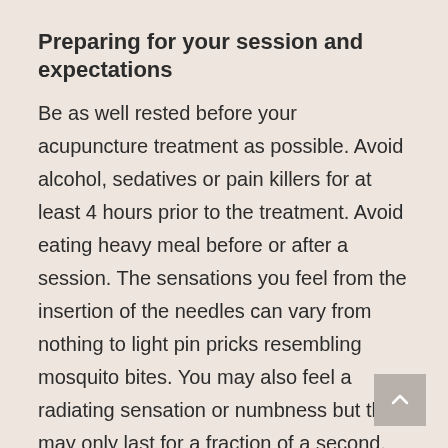Preparing for your session and expectations
Be as well rested before your acupuncture treatment as possible. Avoid alcohol, sedatives or pain killers for at least 4 hours prior to the treatment. Avoid eating heavy meal before or after a session. The sensations you feel from the insertion of the needles can vary from nothing to light pin pricks resembling mosquito bites. You may also feel a radiating sensation or numbness but this may only last for a fraction of a second. You may also feel a state of deep...